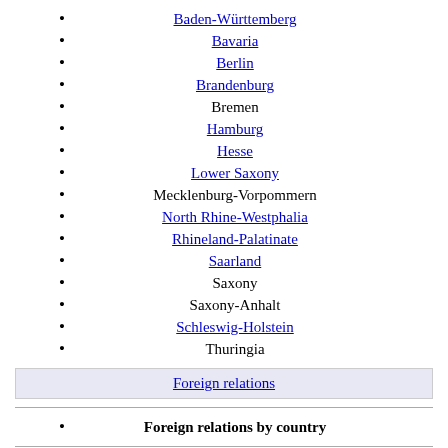Baden-Württemberg
Bavaria
Berlin
Brandenburg
Bremen
Hamburg
Hesse
Lower Saxony
Mecklenburg-Vorpommern
North Rhine-Westphalia
Rhineland-Palatinate
Saarland
Saxony
Saxony-Anhalt
Schleswig-Holstein
Thuringia
Foreign relations
Foreign relations by country
France